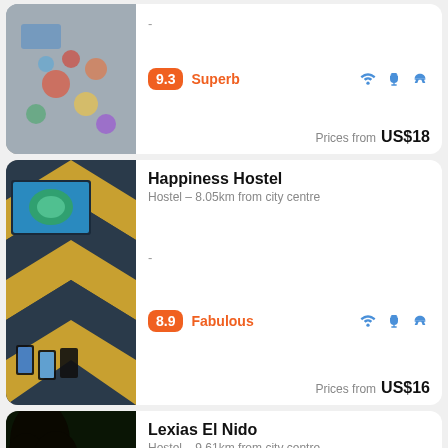[Figure (photo): Aerial view of hostel common area with colorful round tables and people]
-
9.3 Superb
Prices from US$18
Happiness Hostel
Hostel - 8.05km from city centre
-
8.9 Fabulous
Prices from US$16
[Figure (photo): Hostel interior with colorful chevron wall and TV screen showing tropical island]
Lexias El Nido
Hostel - 9.61km from city centre
-
[Figure (photo): Sunset landscape with tree silhouette against orange sky]